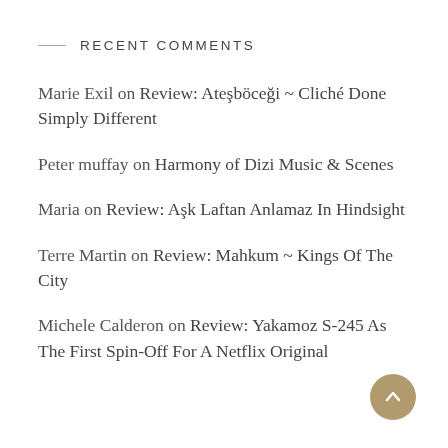RECENT COMMENTS
Marie Exil on Review: Ateşböceği ~ Cliché Done Simply Different
Peter muffay on Harmony of Dizi Music & Scenes
Maria on Review: Aşk Laftan Anlamaz In Hindsight
Terre Martin on Review: Mahkum ~ Kings Of The City
Michele Calderon on Review: Yakamoz S-245 As The First Spin-Off For A Netflix Original